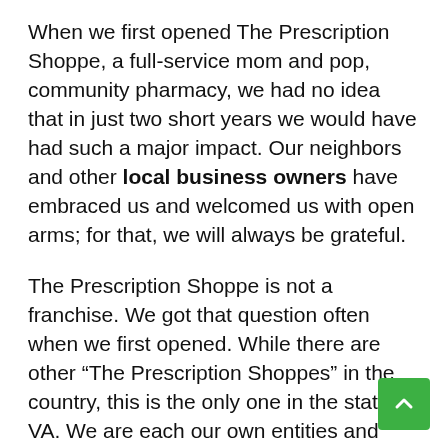When we first opened The Prescription Shoppe, a full-service mom and pop, community pharmacy, we had no idea that in just two short years we would have had such a major impact. Our neighbors and other local business owners have embraced us and welcomed us with open arms; for that, we will always be grateful.
The Prescription Shoppe is not a franchise. We got that question often when we first opened. While there are other “The Prescription Shoppes” in the country, this is the only one in the state of VA. We are each our own entities and have different logos, mottos, etc.